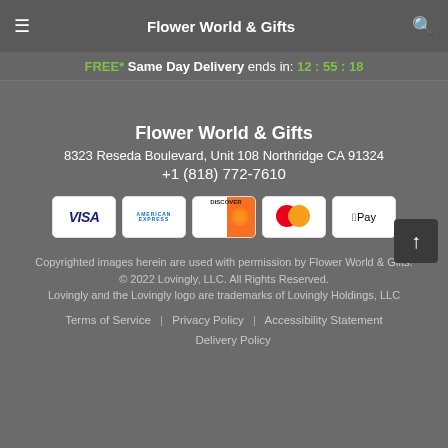Flower World & Gifts
FREE* Same Day Delivery ends in: 12:55:18
Flower World & Gifts
8323 Reseda Boulevard, Unit 108 Northridge CA 91324
+1 (818) 772-7610
[Figure (other): Payment method icons: VISA, American Express, Discover, Mastercard, Apple Pay]
Copyrighted images herein are used with permission by Flower World & Gifts.
© 2022 Lovingly, LLC. All Rights Reserved.
Lovingly and the Lovingly logo are trademarks of Lovingly Holdings, LLC
Terms of Service | Privacy Policy | Accessibility Statement | Delivery Policy